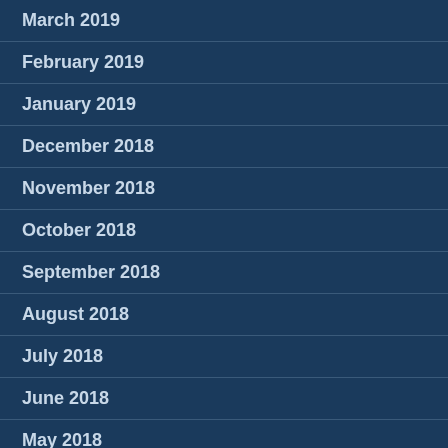March 2019
February 2019
January 2019
December 2018
November 2018
October 2018
September 2018
August 2018
July 2018
June 2018
May 2018